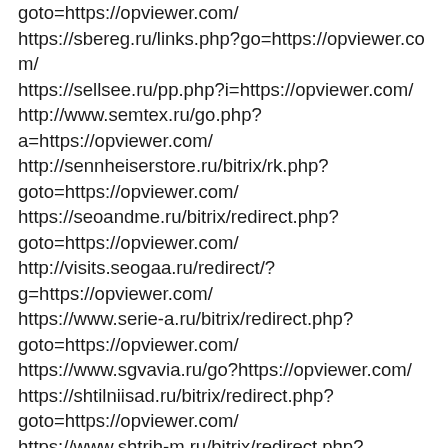goto=https://opviewer.com/
https://sbereg.ru/links.php?go=https://opviewer.com/
https://sellsee.ru/pp.php?i=https://opviewer.com/
http://www.semtex.ru/go.php?a=https://opviewer.com/
http://sennheiserstore.ru/bitrix/rk.php?goto=https://opviewer.com/
https://seoandme.ru/bitrix/redirect.php?goto=https://opviewer.com/
http://visits.seogaa.ru/redirect/?g=https://opviewer.com/
https://www.serie-a.ru/bitrix/redirect.php?goto=https://opviewer.com/
https://www.sgvavia.ru/go?https://opviewer.com/
https://shtilniisad.ru/bitrix/redirect.php?goto=https://opviewer.com/
https://www.shtrih-m.ru/bitrix/redirect.php?goto=https://opviewer.com/